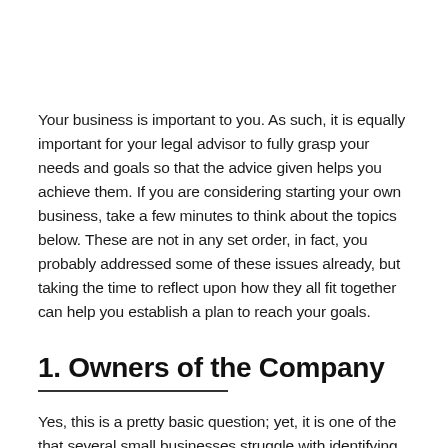Your business is important to you.  As such, it is equally important for your legal advisor to fully grasp your needs and goals so that the advice given helps you achieve them.  If you are considering starting your own business, take a few minutes to think about the topics below.  These are not in any set order, in fact, you probably addressed some of these issues already, but taking the time to reflect upon how they all fit together can help you establish a plan to reach your goals.
1. Owners of the Company
Yes, this is a pretty basic question; yet, it is one of the that several small businesses struggle with identifying.  For